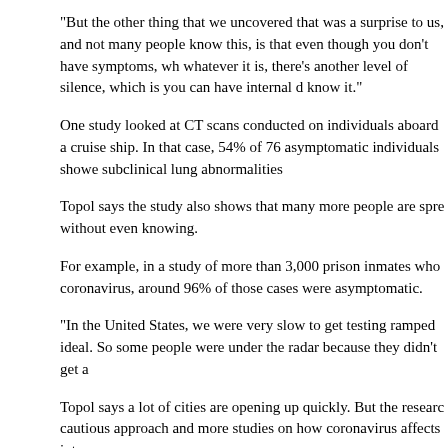"But the other thing that we uncovered that was a surprise to us, and not many people know this, is that even though you don't have symptoms, whatever the word it is, there's another level of silence, which is you can have internal organ damage and not know it."
One study looked at CT scans conducted on individuals aboard a cruise ship. In that case, 54% of 76 asymptomatic individuals showed subclinical lung abnormalities
Topol says the study also shows that many more people are spreading the virus without even knowing.
For example, in a study of more than 3,000 prison inmates who tested positive for coronavirus, around 96% of those cases were asymptomatic.
"In the United States, we were very slow to get testing ramped up to where it was ideal. So some people were under the radar because they didn't get a test."
Topol says a lot of cities are opening up quickly. But the researcher is calling for a cautious approach and more studies on how coronavirus affects inte
KPBS reached out to the California Department of Public Health to comment on the safety of reopening society, given emerging research on asymptoma
The Department wrote in an email, "studies continue to suggest